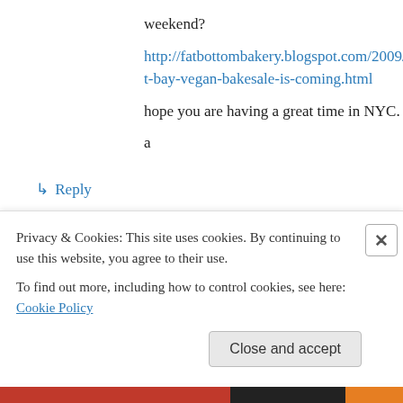weekend?
http://fatbottombakery.blogspot.com/2009/12/east-bay-vegan-bakesale-is-coming.html
hope you are having a great time in NYC.
a
↳ Reply
[Figure (illustration): User avatar: red geometric/quilt pattern square icon for user 'kelp']
kelp on January 8, 2010 at 2:20 am
Hello
I would like to offer you a way to originally think like...
Privacy & Cookies: This site uses cookies. By continuing to use this website, you agree to their use.
To find out more, including how to control cookies, see here: Cookie Policy
Close and accept